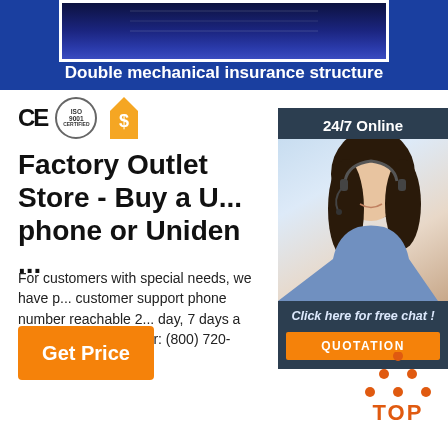[Figure (photo): Blue banner with product image showing dark blue fabric/knit material. Banner text: Double mechanical insurance structure]
Double mechanical insurance structure
[Figure (logo): CE mark, ISO 9001 certification circle, and orange dollar shield certification icons]
Factory Outlet Store - Buy a U... phone or Uniden ...
For customers with special needs, we have p... customer support phone number reachable 2... day, 7 days a week, 365 days a year: (800) 720-6364.
[Figure (photo): 24/7 Online chat widget with woman wearing headset, Click here for free chat! button, and QUOTATION orange button]
[Figure (other): Orange triangle of dots above TOP text button]